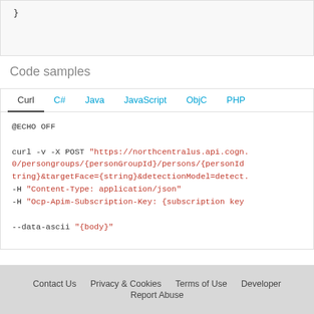}
Code samples
[Figure (screenshot): Code samples panel with tabs: Curl (active), C#, Java, JavaScript, ObjC, PHP. Code block shows: @ECHO OFF

curl -v -X POST "https://northcentralus.api.cogn...0/persongroups/{personGroupId}/persons/{personId...tring}&targetFace={string}&detectionModel=detect...
-H "Content-Type: application/json"
-H "Ocp-Apim-Subscription-Key: {subscription key...

--data-ascii "{body}"]
Contact Us   Privacy & Cookies   Terms of Use   Developer   Report Abuse